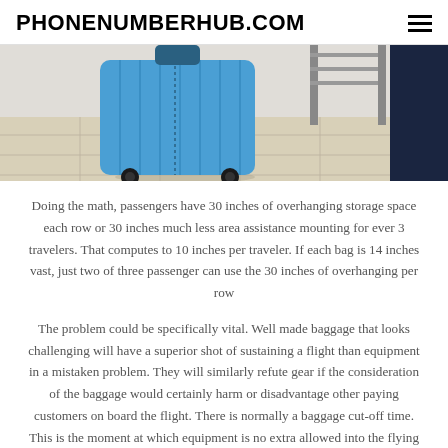PHONENUMBERHUB.COM
[Figure (photo): Blue hard-shell rolling suitcase on a tiled floor, with a dark-clothed person and a metal shelf rack visible in the background.]
Doing the math, passengers have 30 inches of overhanging storage space each row or 30 inches much less area assistance mounting for ever 3 travelers. That computes to 10 inches per traveler. If each bag is 14 inches vast, just two of three passenger can use the 30 inches of overhanging per row
The problem could be specifically vital. Well made baggage that looks challenging will have a superior shot of sustaining a flight than equipment in a mistaken problem. They will similarly refute gear if the consideration of the baggage would certainly harm or disadvantage other paying customers on board the flight. There is normally a baggage cut-off time. This is the moment at which equipment is no extra allowed into the flying machine or into